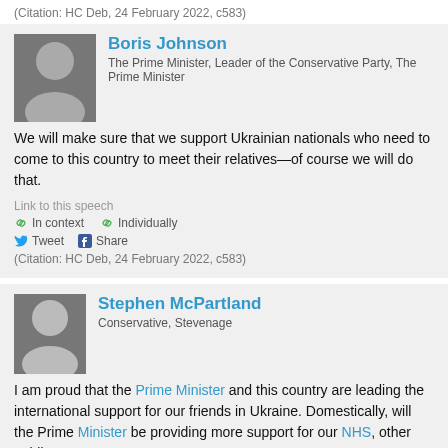(Citation: HC Deb, 24 February 2022, c583)
[Figure (photo): Photo of Boris Johnson]
Boris Johnson
The Prime Minister, Leader of the Conservative Party, The Prime Minister
We will make sure that we support Ukrainian nationals who need to come to this country to meet their relatives—of course we will do that.
Link to this speech
In context   Individually
Tweet   Share
(Citation: HC Deb, 24 February 2022, c583)
[Figure (photo): Photo of Stephen McPartland]
Stephen McPartland
Conservative, Stevenage
I am proud that the Prime Minister and this country are leading the international support for our friends in Ukraine. Domestically, will the Prime Minister be providing more support for our NHS, other public